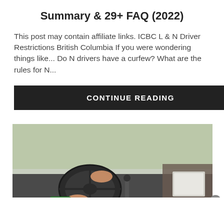Summary & 29+ FAQ (2022)
This post may contain affiliate links. ICBC L & N Driver Restrictions British Columbia If you were wondering things like... Do N drivers have a curfew? What are the rules for N...
CONTINUE READING
[Figure (photo): Interior view of a car with a young driver's hands on the steering wheel and an instructor in the passenger seat; L and N learner driver signs visible on the dashboard.]